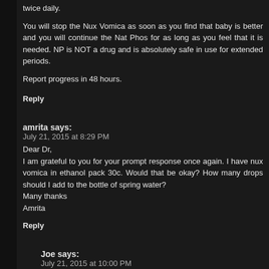twice daily.
You will stop the Nux Vomica as soon as you find that baby is better and you will continue the Nat Phos for as long as you feel that it is needed. NP is NOT a drug and is absolutely safe in use for extended periods.
Report progress in 48 hours.
Reply
amrita says: July 21, 2015 at 8:29 PM
Dear Dr,
I am grateful to you for your prompt response once again. I have nux vomica in ethanol pack 30c. Would that be okay? How many drops should I add to the bottle of spring water?
Many thanks
Amrita
Reply
Joe says: July 21, 2015 at 10:00 PM
Just 2 will do to activate 500ml water.
The dose is 2-3ml twice daily.